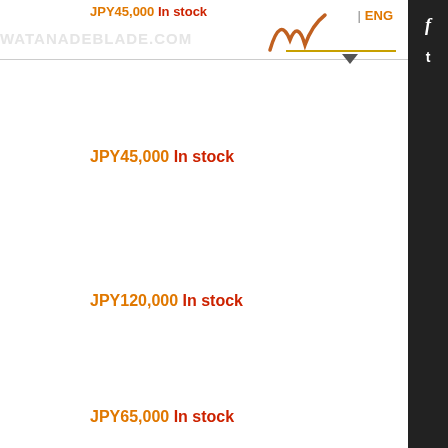JPY45,000 In stock | ENG
WATANADEBLADE.COM
JPY45,000 In stock
JPY120,000 In stock
JPY65,000 In stock